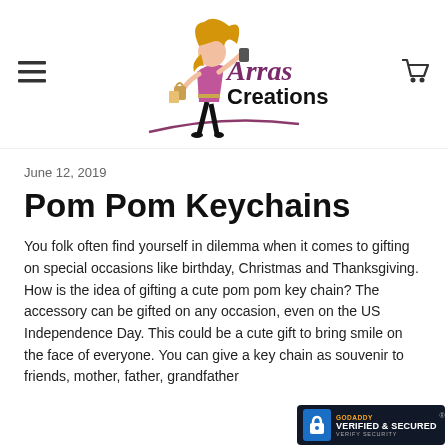[Figure (logo): Arras Creations logo with illustrated shopping woman in black pants and pink top with blonde hair carrying shopping bags, purple cursive 'Arras' text and black 'Creations' text with decorative swoosh]
June 12, 2019
Pom Pom Keychains
You folk often find yourself in dilemma when it comes to gifting on special occasions like birthday, Christmas and Thanksgiving. How is the idea of gifting a cute pom pom key chain? The accessory can be gifted on any occasion, even on the US Independence Day. This could be a cute gift to bring smile on the face of everyone. You can give a key chain as souvenir to friends, mother, father, grandfather